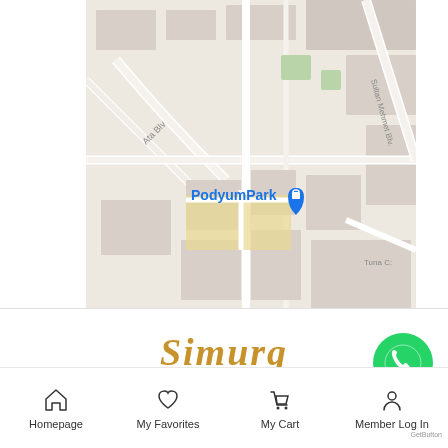[Figure (map): Street map showing PodyumPark location with a blue shopping bag pin marker. Map shows street grid with labels including Ata Blv, Sultan Mehmet Blv, Tuna Ci. The map is in Google Maps style with gray roads on light background.]
[Figure (logo): Simurg Art Gallery logo in gold/amber color with stylized italic serif font for SIMURG and smaller text art gallery below]
[Figure (other): WhatsApp contact button - green circle with white phone/chat icon]
Homepage  My Favorites  My Cart  Member Log In